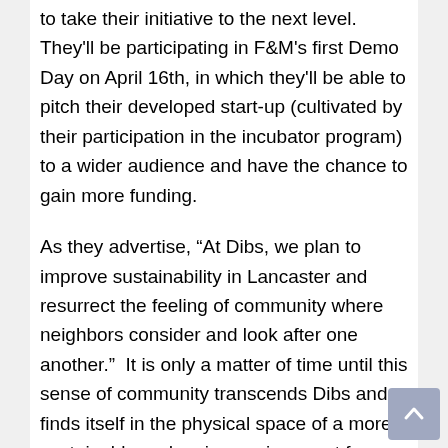to take their initiative to the next level. They'll be participating in F&M's first Demo Day on April 16th, in which they'll be able to pitch their developed start-up (cultivated by their participation in the incubator program) to a wider audience and have the chance to gain more funding.
As they advertise, “At Dibs, we plan to improve sustainability in Lancaster and resurrect the feeling of community where neighbors consider and look after one another.”  It is only a matter of time until this sense of community transcends Dibs and finds itself in the physical space of a more sustainable and caring environment for those of all backgrounds and lived experiences!